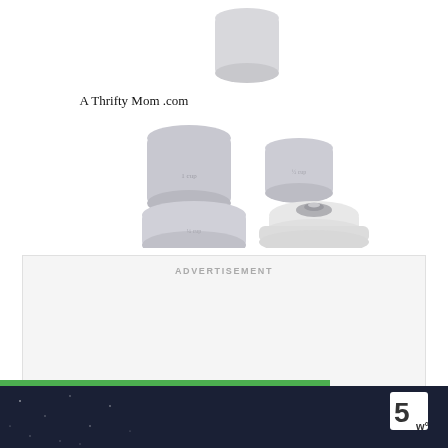[Figure (photo): White/grey ceramic measuring cup set with multiple sizes including cups and small bowls, some with silver lids, branded with 'A Thrifty Mom .com' text overlay]
A Thrifty Mom .com
ADVERTISEMENT
[Figure (photo): Bottom banner advertisement with dark navy background reading 'SHE CAN STEM' in bold white text, with a '5W' logo badge on the right side and a green bar above]